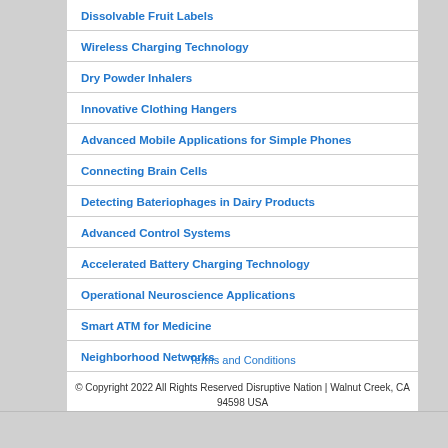Dissolvable Fruit Labels
Wireless Charging Technology
Dry Powder Inhalers
Innovative Clothing Hangers
Advanced Mobile Applications for Simple Phones
Connecting Brain Cells
Detecting Bateriophages in Dairy Products
Advanced Control Systems
Accelerated Battery Charging Technology
Operational Neuroscience Applications
Smart ATM for Medicine
Neighborhood Networks
Terms and Conditions
© Copyright 2022 All Rights Reserved Disruptive Nation | Walnut Creek, CA 94598 USA